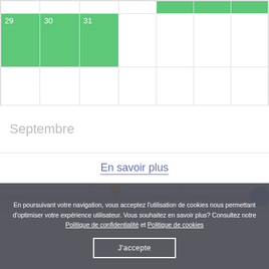[Figure (screenshot): Partial calendar view showing days 29, 30, 31 highlighted in green, followed by empty rows. Below is a 'Septembre' month header. Then an 'En savoir plus' link and a partial map image.]
Septembre
En savoir plus
En poursuivant votre navigation, vous acceptez l’utilisation de cookies nous permettant d’optimiser votre expérience utilisateur. Vous souhaitez en savoir plus? Consultez notre Politique de confidentialité et Politique de cookies
J’accepte